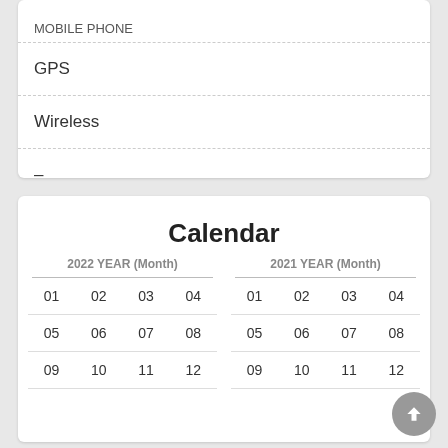MOBILE PHONE
GPS
Wireless
–
Calendar
| 01 | 02 | 03 | 04 |
| --- | --- | --- | --- |
| 05 | 06 | 07 | 08 |
| 09 | 10 | 11 | 12 |
| 01 | 02 | 03 | 04 |
| --- | --- | --- | --- |
| 05 | 06 | 07 | 08 |
| 09 | 10 | 11 | 12 |